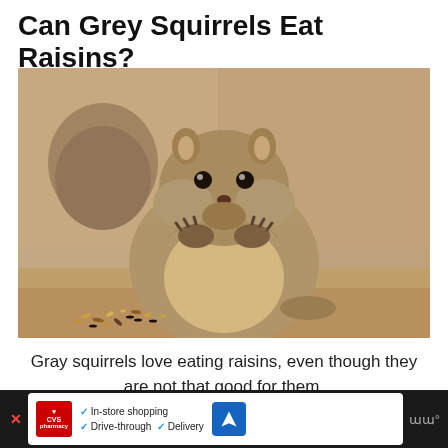Can Grey Squirrels Eat Raisins?
[Figure (photo): A chubby grey squirrel sitting on a sandy rock surface, holding food in its front paws and eating, with seeds and mixed food scattered in front of it. Rocky background.]
Gray squirrels love eating raisins, even though they are not that good for them.
Grey squirrels will eat raisins without any
[Figure (other): CVS Pharmacy advertisement banner at the bottom of the page showing in-store shopping, drive-through, and delivery options with a navigation icon.]